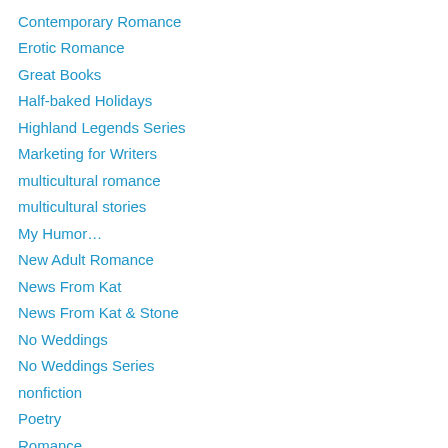Contemporary Romance
Erotic Romance
Great Books
Half-baked Holidays
Highland Legends Series
Marketing for Writers
multicultural romance
multicultural stories
My Humor…
New Adult Romance
News From Kat
News From Kat & Stone
No Weddings
No Weddings Series
nonfiction
Poetry
Romance
romantic comedy
Romantic Suspense
Science Fiction